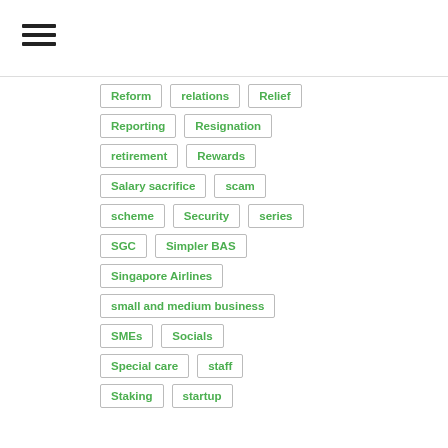[Figure (other): Hamburger menu icon (three horizontal bars)]
Reform
relations
Relief
Reporting
Resignation
retirement
Rewards
Salary sacrifice
scam
scheme
Security
series
SGC
Simpler BAS
Singapore Airlines
small and medium business
SMEs
Socials
Special care
staff
Staking
startup